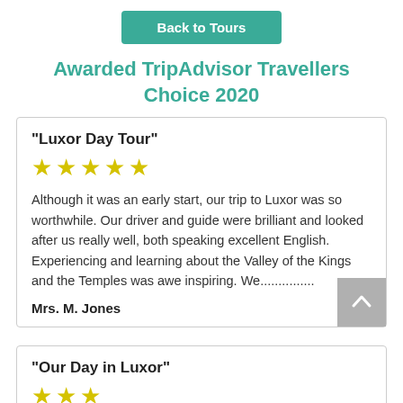Back to Tours
Awarded TripAdvisor Travellers Choice 2020
"Luxor Day Tour"
[Figure (other): Five gold star rating]
Although it was an early start, our trip to Luxor was so worthwhile. Our driver and guide were brilliant and looked after us really well, both speaking excellent English. Experiencing and learning about the Valley of the Kings and the Temples was awe inspiring. We...............
Mrs. M. Jones
"Our Day in Luxor"
[Figure (other): Partial star rating (cut off at bottom)]